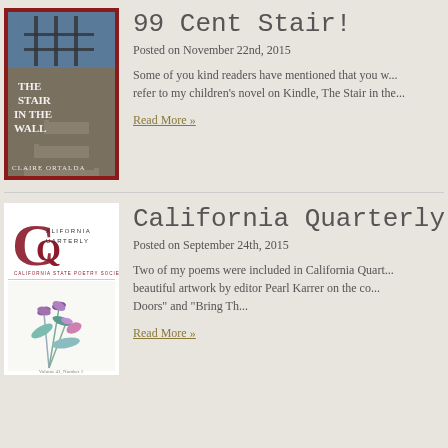[Figure (photo): Book cover of 'The Stair in the Wall' by Claire Ortalda - dark staircase photo with title text overlay]
99 Cent Stair!
Posted on November 22nd, 2015
Some of you kind readers have mentioned that you w... refer to my children's novel on Kindle, The Stair in the...
Read More »
[Figure (logo): California Quarterly magazine cover with CQ logo and floral artwork]
California Quarterly
Posted on September 24th, 2015
Two of my poems were included in California Quart... beautiful artwork by editor Pearl Karrer on the co... Doors" and "Bring Th...
Read More »